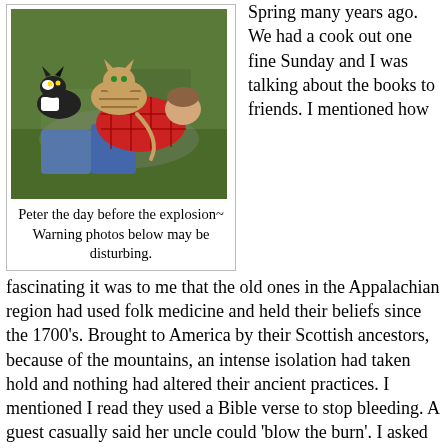[Figure (photo): A person lying on grass with two cats, one tabby cat and one black-and-white cat, wearing a red plaid shirt and jeans.]
Peter the day before the explosion~
Warning photos below may be disturbing.
Spring many years ago. We had a cook out one fine Sunday and I was talking about the books to friends. I mentioned how fascinating it was to me that the old ones in the Appalachian region had used folk medicine and held their beliefs since the 1700's. Brought to America by their Scottish ancestors, because of the mountains, an intense isolation had taken hold and nothing had altered their ancient practices. I mentioned I read they used a Bible verse to stop bleeding. A guest casually said her uncle could 'blow the burn'. I asked her to elaborate and she said he could even do it over the phone, it was his gift and he did without pay. She said he tried to help severe burn victims in hospitals but often they dismissed his efforts and told him to leave. It is his belief that fire stays in the flesh unless it is blown, thus the zig-zag look to a healed burn. It's the fire still within the skin and it must be blown for the burn to heal correctly. Strange conversation, strange luck... because I would need the information within